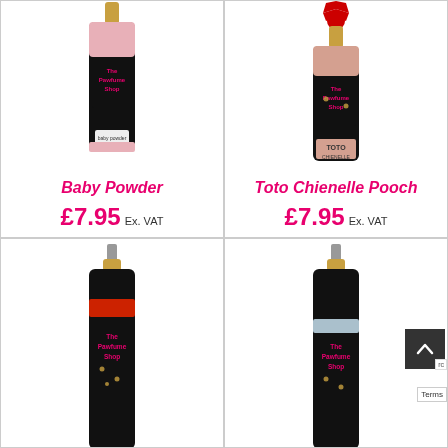[Figure (photo): Baby Powder perfume bottle from The Pawfume Shop - black bottle with pink band]
Baby Powder
£7.95 Ex. VAT
[Figure (photo): Toto Chienelle Pooch perfume bottle from The Pawfume Shop - black bottle with pink/nude band, red ribbon award badge at top]
Toto Chienelle Pooch
£7.95 Ex. VAT
[Figure (photo): The Pawfume Shop perfume bottle - black bottle with red band, partially cropped at bottom]
[Figure (photo): The Pawfume Shop perfume bottle - black bottle with blue/grey band, partially obscured by scroll-to-top button]